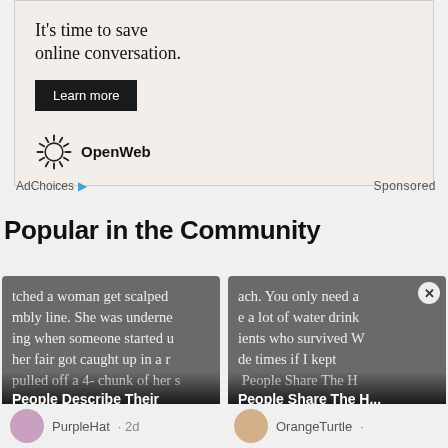[Figure (other): OpenWeb advertisement banner with headline 'It's time to save online conversation.', a 'Learn more' button, and the OpenWeb logo]
AdChoices ▷  Sponsored
Popular in the Community
[Figure (other): Card showing article preview: 'tched a woman get scalped ... mbly line. She was underne... ing when someone started u... her fair got caught up in a r... pulled off a 4- chunk of her s...' with overlay title 'People Describe Their Greatest Workplace Horror...']
[Figure (other): Card showing article preview: 'ach. You only need a... e a lot of water drink... ients who survived W... de times if I kept... People Share The H... Items That Wou...' with close button]
PurpleHat · 2d
OrangeTurtle ·